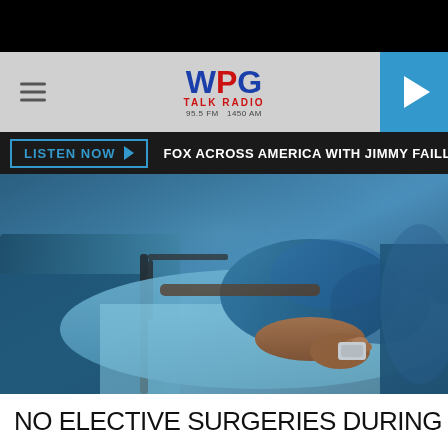[Figure (logo): WPG Talk Radio logo with hamburger menu and play button]
LISTEN NOW ▶   FOX ACROSS AMERICA WITH JIMMY FAILLA
[Figure (photo): Patient lying in hospital bed holding nurse call button, blue hospital gown, medical bed rails visible]
GettyImages
NO ELECTIVE SURGERIES DURING